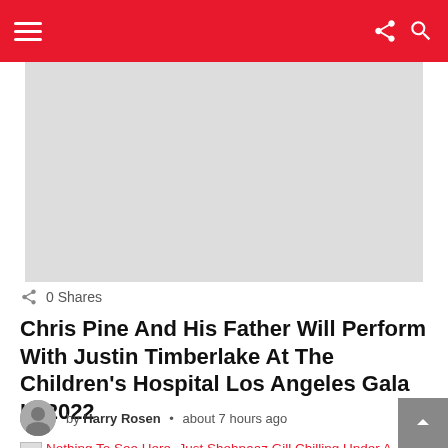Navigation header with menu, share, and search icons
[Figure (other): Gray advertisement placeholder rectangle]
0 Shares
Chris Pine And His Father Will Perform With Justin Timberlake At The Children's Hospital Los Angeles Gala In 2022
by Harry Rosen • about 7 hours ago
[Figure (other): Broken image link: Nothing To See Here, Just Shehnaaz Gill Chilling Under A Waterfall]